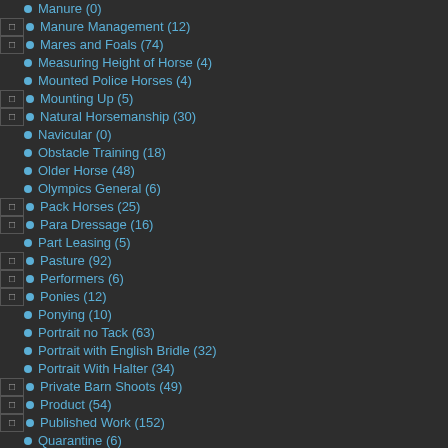Manure (0)
Manure Management (12)
Mares and Foals (74)
Measuring Height of Horse (4)
Mounted Police Horses (4)
Mounting Up (5)
Natural Horsemanship (30)
Navicular (0)
Obstacle Training (18)
Older Horse (48)
Olympics General (6)
Pack Horses (25)
Para Dressage (16)
Part Leasing (5)
Pasture (92)
Performers (6)
Ponies (12)
Ponying (10)
Portrait no Tack (63)
Portrait with English Bridle (32)
Portrait With Halter (34)
Private Barn Shoots (49)
Product (54)
Published Work (152)
Quarantine (6)
Quarter Horse Ridden in Winter (0)
Ranches (4)
Reflective Wear (4)
Comments:
Page 1 of 0 (0 Comments)
[Back]